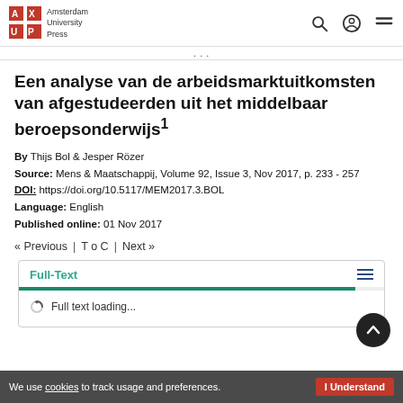Amsterdam University Press
Een analyse van de arbeidsmarktuitkomsten van afgestudeerden uit het middelbaar beroepsonderwijs¹
By Thijs Bol & Jesper Rözer
Source: Mens & Maatschappij, Volume 92, Issue 3, Nov 2017, p. 233 - 257
DOI: https://doi.org/10.5117/MEM2017.3.BOL
Language: English
Published online: 01 Nov 2017
« Previous  |  T o C  |  Next »
Full-Text
Full text loading...
We use cookies to track usage and preferences. I Understand